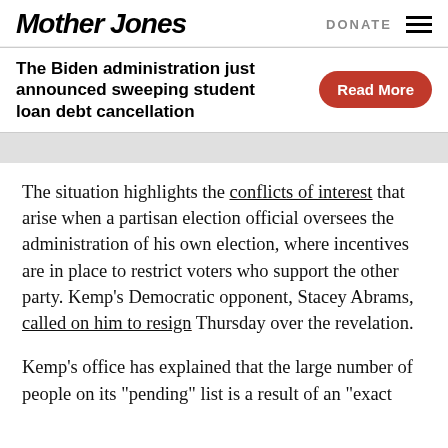Mother Jones | DONATE
The Biden administration just announced sweeping student loan debt cancellation  Read More
The situation highlights the conflicts of interest that arise when a partisan election official oversees the administration of his own election, where incentives are in place to restrict voters who support the other party. Kemp’s Democratic opponent, Stacey Abrams, called on him to resign Thursday over the revelation.
Kemp’s office has explained that the large number of people on its “pending” list is a result of an “exact